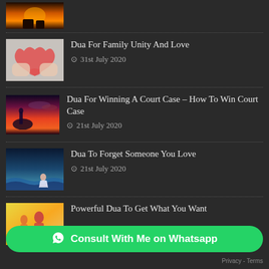[Figure (photo): Partial thumbnail of sunset/hands image at top]
Dua For Family Unity And Love
31st July 2020
Dua For Winning A Court Case – How To Win Court Case
21st July 2020
Dua To Forget Someone You Love
21st July 2020
Powerful Dua To Get What You Want
Consult With Me on Whatsapp
Privacy - Terms